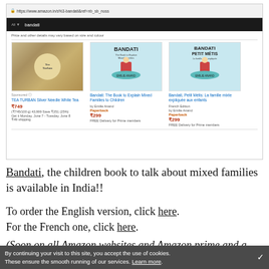[Figure (screenshot): Amazon India search screenshot showing 'bandati' search results with 3 products: TEA TURBAN Silver Needle White Tea (sponsored, ₹749), Bandati: The Book to Explain Mixed Families to Children by Emilie Anand (Paperback ₹299), and Bandati, Petit Métis: La famille mixte expliquée aux enfants French Edition by Emilie Anand (Paperback ₹299). Both book listings show FREE Delivery for Prime members.]
Bandati, the children book to talk about mixed families is available in India!!
To order the English version, click here. For the French one, click here.
(Soon on all Amazon websites and Amazon prime and a few shops)
By continuing your visit to this site, you accept the use of cookies. These ensure the smooth running of our services. Learn more.